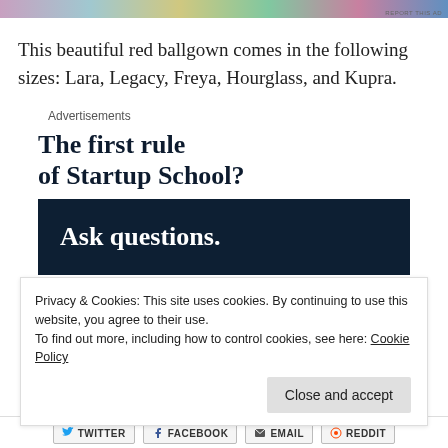[Figure (other): Colorful advertisement banner strip at the top of the page with 'REPORT THIS AD' text in small print at the right]
This beautiful red ballgown comes in the following sizes: Lara, Legacy, Freya, Hourglass, and Kupra.
Advertisements
[Figure (other): Advertisement block: 'The first rule of Startup School?' in dark bold serif font, followed by a dark navy box with 'Ask questions.' in white bold serif font]
Privacy & Cookies: This site uses cookies. By continuing to use this website, you agree to their use.
To find out more, including how to control cookies, see here: Cookie Policy
Close and accept